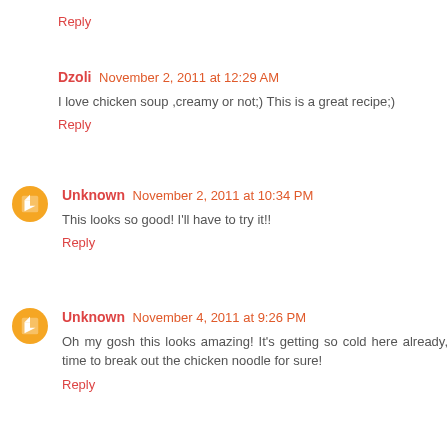Reply
Dzoli  November 2, 2011 at 12:29 AM
I love chicken soup ,creamy or not;) This is a great recipe;)
Reply
Unknown  November 2, 2011 at 10:34 PM
This looks so good! I'll have to try it!!
Reply
Unknown  November 4, 2011 at 9:26 PM
Oh my gosh this looks amazing! It's getting so cold here already, time to break out the chicken noodle for sure!
Reply